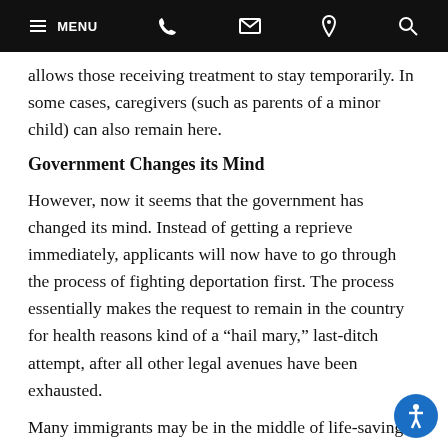MENU [phone] [email] [location] [search]
allows those receiving treatment to stay temporarily. In some cases, caregivers (such as parents of a minor child) can also remain here.
Government Changes its Mind
However, now it seems that the government has changed its mind. Instead of getting a reprieve immediately, applicants will now have to go through the process of fighting deportation first. The process essentially makes the request to remain in the country for health reasons kind of a “hail mary,” last-ditch attempt, after all other legal avenues have been exhausted.
Many immigrants may be in the middle of life-saving treatments, only available in the United States, while the…